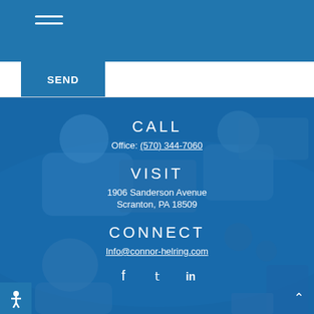SEND
CALL
Office: (570) 344-7060
VISIT
1906 Sanderson Avenue
Scranton, PA 18509
CONNECT
Info@connor-helring.com
[Figure (infographic): Social media icons: Facebook (f), Twitter (bird), LinkedIn (in)]